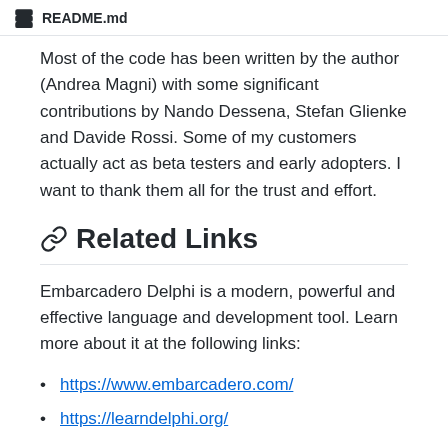README.md
Most of the code has been written by the author (Andrea Magni) with some significant contributions by Nando Dessena, Stefan Glienke and Davide Rossi. Some of my customers actually act as beta testers and early adopters. I want to thank them all for the trust and effort.
Related Links
Embarcadero Delphi is a modern, powerful and effective language and development tool. Learn more about it at the following links:
https://www.embarcadero.com/
https://learndelphi.org/
CONTRIBUTO